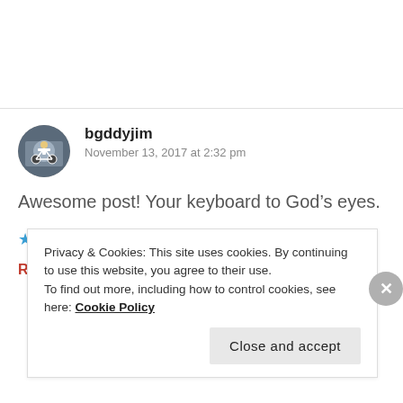[Figure (photo): Avatar photo of user bgddyjim showing a person on a bicycle]
bgddyjim
November 13, 2017 at 2:32 pm
Awesome post! Your keyboard to God’s eyes.
★ Liked by 1 person
REPLY
Privacy & Cookies: This site uses cookies. By continuing to use this website, you agree to their use.
To find out more, including how to control cookies, see here: Cookie Policy
Close and accept